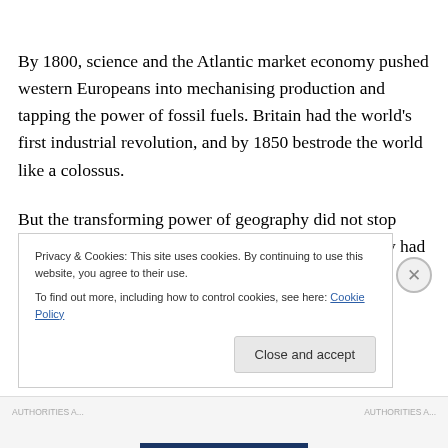By 1800, science and the Atlantic market economy pushed western Europeans into mechanising production and tapping the power of fossil fuels. Britain had the world's first industrial revolution, and by 1850 bestrode the world like a colossus.
But the transforming power of geography did not stop there. By 1900 the British-dominated global economy had
Privacy & Cookies: This site uses cookies. By continuing to use this website, you agree to their use.
To find out more, including how to control cookies, see here: Cookie Policy
Close and accept